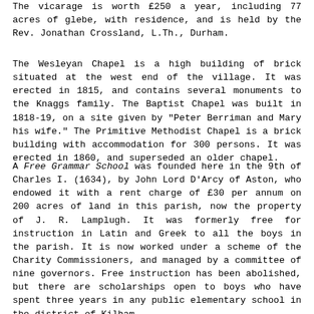The vicarage is worth £250 a year, including 77 acres of glebe, with residence, and is held by the Rev. Jonathan Crossland, L.Th., Durham.
The Wesleyan Chapel is a high building of brick situated at the west end of the village. It was erected in 1815, and contains several monuments to the Knaggs family. The Baptist Chapel was built in 1818-19, on a site given by "Peter Berriman and Mary his wife." The Primitive Methodist Chapel is a brick building with accommodation for 300 persons. It was erected in 1860, and superseded an older chapel.
A Free Grammar School was founded here in the 9th of Charles I. (1634), by John Lord D'Arcy of Aston, who endowed it with a rent charge of £30 per annum on 200 acres of land in this parish, now the property of J. R. Lamplugh. It was formerly free for instruction in Latin and Greek to all the boys in the parish. It is now worked under a scheme of the Charity Commissioners, and managed by a committee of nine governors. Free instruction has been abolished, but there are scholarships open to boys who have spent three years in any public elementary school in the district of Kilham.